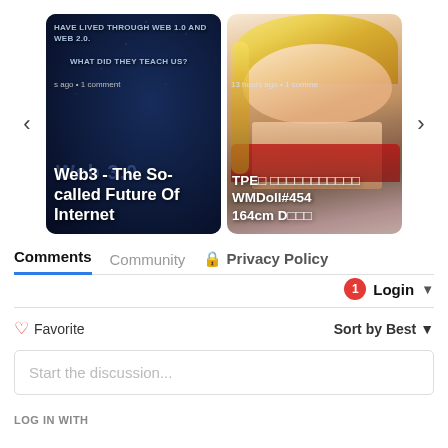[Figure (screenshot): Carousel card 1: dark blue background with star field, text 'HAVE LIVED THROUGH WEB 1.0 AND WEB 2.0.' and 'WHAT DID THEY TEACH US?', metadata '...s ago • 1 comment', title 'Web3 - The So-called Future Of Internet', watermark 'Web 3.0']
[Figure (screenshot): Carousel card 2: photo of blonde anime/doll figure, metadata '13 hours ago • 1 comme...', title 'TPE□ □□□□□□□□□□□ WMDoll#454 164cm D□□□']
Comments   Community   🔒 Privacy Policy
Login ▾   1 (notification badge)
♡ Favorite      Sort by Best ▾
Start the discussion...
LOG IN WITH